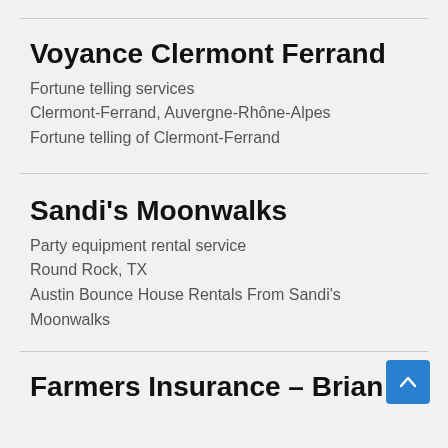Voyance Clermont Ferrand
Fortune telling services
Clermont-Ferrand, Auvergne-Rhône-Alpes
Fortune telling of Clermont-Ferrand
Sandi's Moonwalks
Party equipment rental service
Round Rock, TX
Austin Bounce House Rentals From Sandi's Moonwalks
Farmers Insurance – Brian